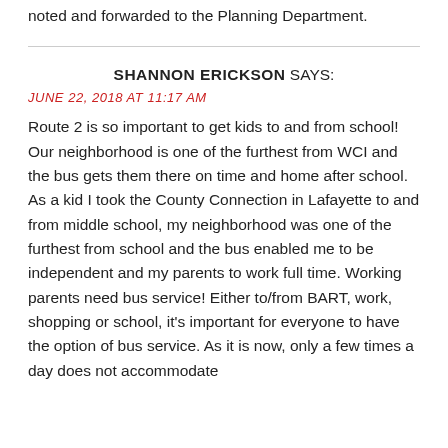Thank you for your comment. It has been noted and forwarded to the Planning Department.
SHANNON ERICKSON SAYS:
JUNE 22, 2018 AT 11:17 AM
Route 2 is so important to get kids to and from school! Our neighborhood is one of the furthest from WCI and the bus gets them there on time and home after school. As a kid I took the County Connection in Lafayette to and from middle school, my neighborhood was one of the furthest from school and the bus enabled me to be independent and my parents to work full time. Working parents need bus service! Either to/from BART, work, shopping or school, it's important for everyone to have the option of bus service. As it is now, only a few times a day does not accommodate...